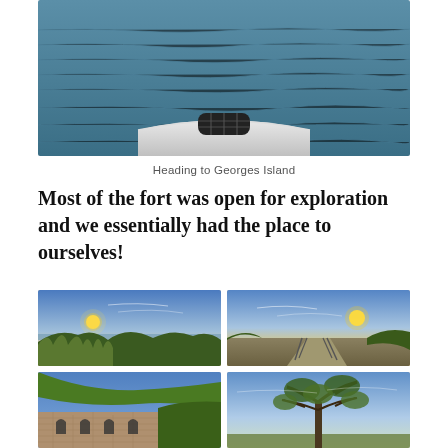[Figure (photo): View from a boat bow heading toward Georges Island, dark blue-green water with gentle waves, white boat hull visible at bottom]
Heading to Georges Island
Most of the fort was open for exploration and we essentially had the place to ourselves!
[Figure (photo): Sunset landscape at Georges Island fort, golden sun low on horizon, tall grasses and trees in foreground, water and distant islands in background, blue sky with wispy clouds]
[Figure (photo): Sunset at Georges Island, sun glowing near horizon, paved path with railing leading through fort grounds, blue sky with light clouds]
[Figure (photo): Fort Warren building exterior with brick walls and arched windows, green hillside above, blue sky]
[Figure (photo): Tree silhouetted against a pale blue evening sky at Georges Island]